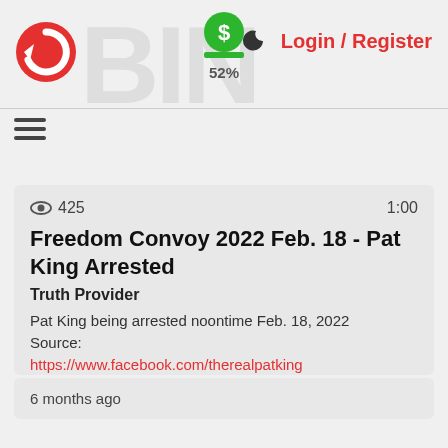Login / Register | 52%
[Figure (screenshot): Website header with logo (red circular arrow icon), dollar sign icon with 52% label, crescent moon icon, and Login/Register navigation links in red]
425  1:00
Freedom Convoy 2022 Feb. 18 - Pat King Arrested
Truth Provider
Pat King being arrested noontime Feb. 18, 2022
Source:
https://www.facebook.com/therealpatking
6 months ago